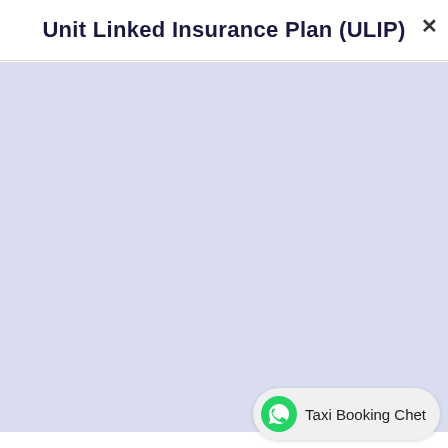Unit Linked Insurance Plan (ULIP)
[Figure (other): Large light lavender/blue-grey blank content area, appears to be a loading or empty state panel]
Taxi Booking Chet